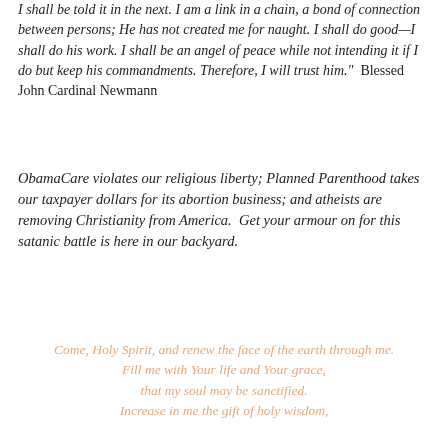I shall be told it in the next. I am a link in a chain, a bond of connection between persons; He has not created me for naught. I shall do good—I shall do his work. I shall be an angel of peace while not intending it if I do but keep his commandments. Therefore, I will trust him." Blessed John Cardinal Newmann
ObamaCare violates our religious liberty; Planned Parenthood takes our taxpayer dollars for its abortion business; and atheists are removing Christianity from America. Get your armour on for this satanic battle is here in our backyard.
Come, Holy Spirit, and renew the face of the earth through me. Fill me with Your life and Your grace, that my soul may be sanctified. Increase in me the gift of holy wisdom,